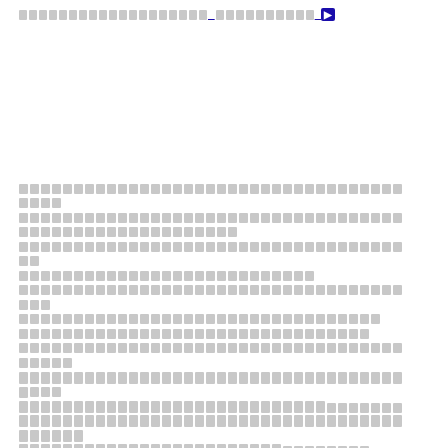[redacted header link text with icon]
[redacted body paragraph 1 - Thai or similar script, multiple lines]
[redacted body paragraph 2 - Thai or similar script, multiple lines]